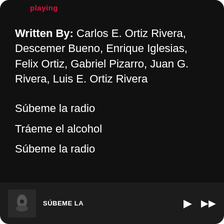playing
Written By: Carlos E. Ortiz Rivera, Descemer Bueno, Enrique Iglesias, Felix Ortiz, Gabriel Pizarro, Juan G. Rivera, Luis E. Ortiz Rivera
Súbeme la radio
Tráeme el alcohol
Súbeme la radio
SÚBEME LA